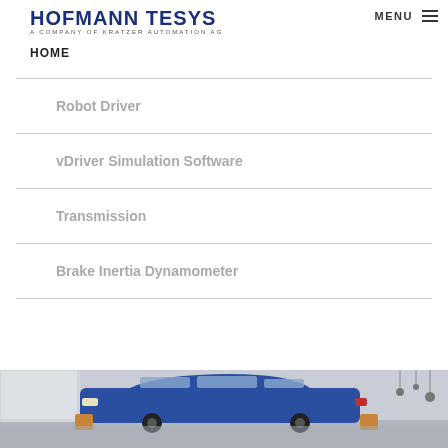HOFMANN TESYS — A company of KRATZER AUTOMATION AG
HOME
Robot Driver
vDriver Simulation Software
Transmission
Brake Inertia Dynamometer
[Figure (photo): Blue station wagon car in a testing facility/dynamometer room with equipment visible in the background]